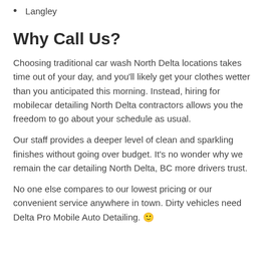Langley
Why Call Us?
Choosing traditional car wash North Delta locations takes time out of your day, and you’ll likely get your clothes wetter than you anticipated this morning. Instead, hiring for mobilecar detailing North Delta contractors allows you the freedom to go about your schedule as usual.
Our staff provides a deeper level of clean and sparkling finishes without going over budget. It’s no wonder why we remain the car detailing North Delta, BC more drivers trust.
No one else compares to our lowest pricing or our convenient service anywhere in town. Dirty vehicles need Delta Pro Mobile Auto Detailing. 🙂